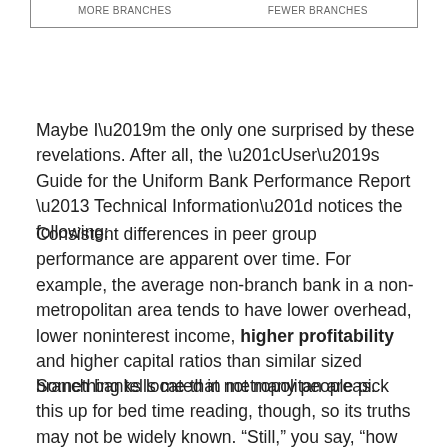| More Branches | Fewer Branches |
| --- | --- |
Maybe I’m the only one surprised by these revelations. After all, the “User’s Guide for the Uniform Bank Performance Report – Technical Information” notices the following:
Consistent differences in peer group performance are apparent over time. For example, the average non-branch bank in a non-metropolitan area tends to have lower overhead, lower noninterest income, higher profitability and higher capital ratios than similar sized branch banks located in metropolitan areas.
Something tells me that not many people pick this up for bed time reading, though, so its truths may not be widely known. “Still,” you say, “how could it be that smaller, more